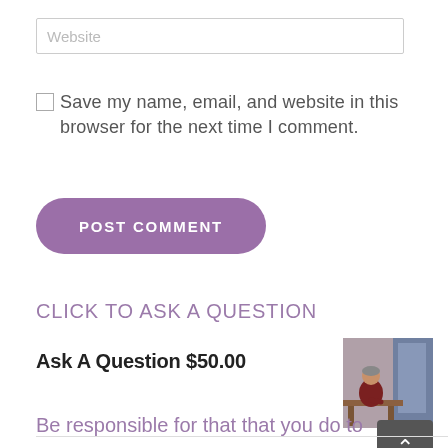Website
Save my name, email, and website in this browser for the next time I comment.
POST COMMENT
CLICK TO ASK A QUESTION
Ask A Question $50.00
[Figure (photo): Small thumbnail photo of a person sitting at a table, appears to be writing or working, with a doorway visible in the background.]
Be responsible for that that you do to